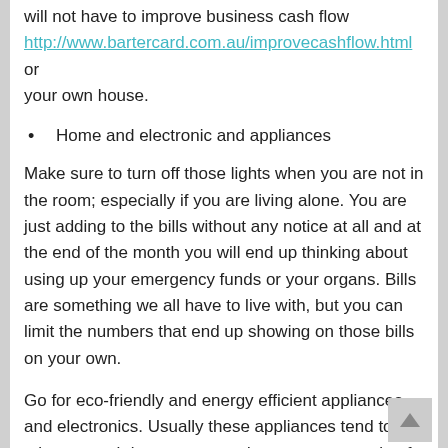will not have to improve business cash flow http://www.bartercard.com.au/improvecashflow.html or your own house.
Home and electronic and appliances
Make sure to turn off those lights when you are not in the room; especially if you are living alone. You are just adding to the bills without any notice at all and at the end of the month you will end up thinking about using up your emergency funds or your organs. Bills are something we all have to live with, but you can limit the numbers that end up showing on those bills on your own.
Go for eco-friendly and energy efficient appliances and electronics. Usually these appliances tend to take up much less energy and save you a couple of bucks every day (which will rack up to a lot of money at the end of the money). There have been studies done on calculating the costs cut by using energy efficient bulbs and appliances, so the benefits can be seen. When you are buying new